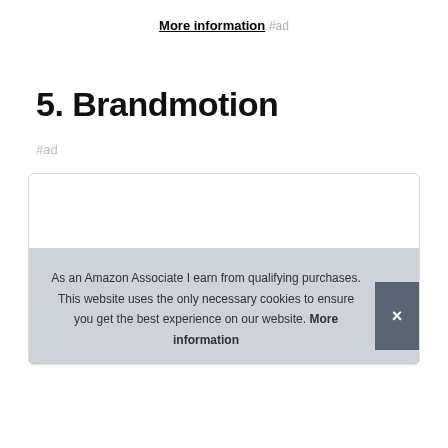More information #ad
5. Brandmotion
#ad
[Figure (screenshot): A card/box with a cookie consent banner overlay reading: 'As an Amazon Associate I earn from qualifying purchases. This website uses the only necessary cookies to ensure you get the best experience on our website. More information' with a close (×) button, and a partial product image at the bottom.]